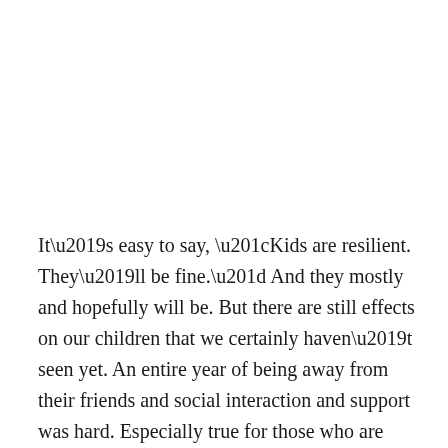It’s easy to say, “Kids are resilient. They’ll be fine.” And they mostly and hopefully will be. But there are still effects on our children that we certainly haven’t seen yet. An entire year of being away from their friends and social interaction and support was hard. Especially true for those who are moving on to next things.